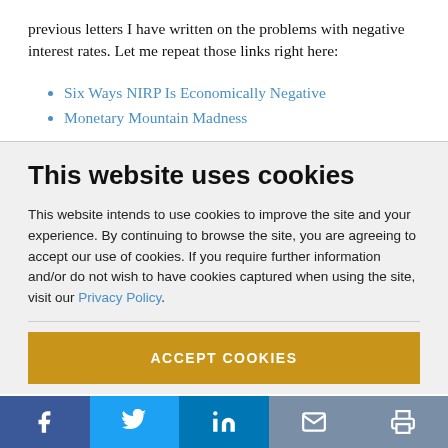previous letters I have written on the problems with negative interest rates. Let me repeat those links right here:
Six Ways NIRP Is Economically Negative
Monetary Mountain Madness
This website uses cookies
This website intends to use cookies to improve the site and your experience. By continuing to browse the site, you are agreeing to accept our use of cookies. If you require further information and/or do not wish to have cookies captured when using the site, visit our Privacy Policy.